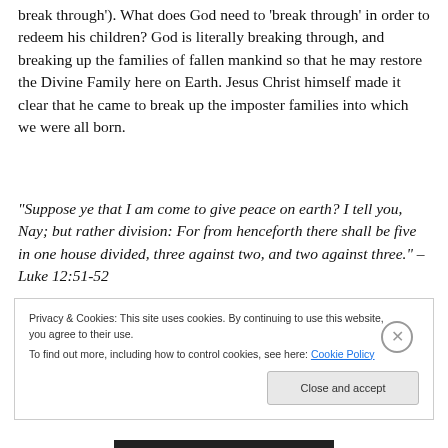break through'). What does God need to 'break through' in order to redeem his children? God is literally breaking through, and breaking up the families of fallen mankind so that he may restore the Divine Family here on Earth. Jesus Christ himself made it clear that he came to break up the imposter families into which we were all born.
“Suppose ye that I am come to give peace on earth? I tell you, Nay; but rather division: For from henceforth there shall be five in one house divided, three against two, and two against three.” – Luke 12:51-52
Privacy & Cookies: This site uses cookies. By continuing to use this website, you agree to their use.
To find out more, including how to control cookies, see here: Cookie Policy